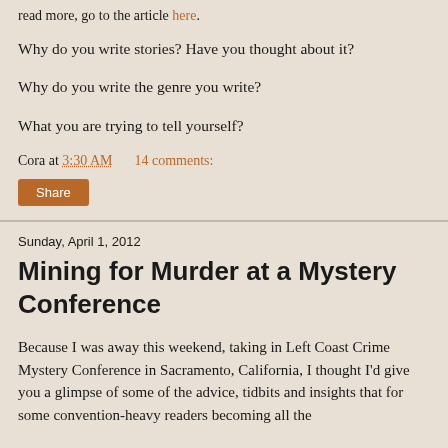read more, go to the article here.
Why do you write stories? Have you thought about it?
Why do you write the genre you write?
What you are trying to tell yourself?
Cora at 3:30 AM    14 comments:
Share
Sunday, April 1, 2012
Mining for Murder at a Mystery Conference
Because I was away this weekend, taking in Left Coast Crime Mystery Conference in Sacramento, California, I thought I'd give you a glimpse of some of the advice, tidbits and insights that for some convention-heavy readers becoming all the